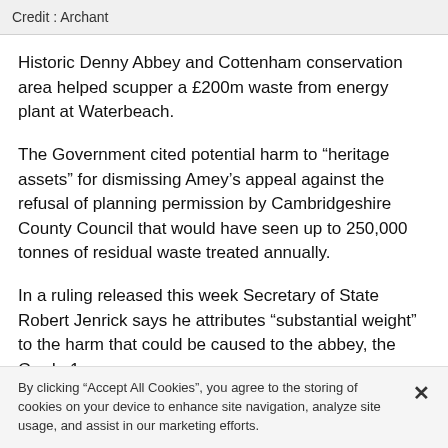Credit: Archant
Historic Denny Abbey and Cottenham conservation area helped scupper a £200m waste from energy plant at Waterbeach.
The Government cited potential harm to “heritage assets” for dismissing Amey’s appeal against the refusal of planning permission by Cambridgeshire County Council that would have seen up to 250,000 tonnes of residual waste treated annually.
In a ruling released this week Secretary of State Robert Jenrick says he attributes “substantial weight” to the harm that could be caused to the abbey, the Grade 1
By clicking “Accept All Cookies”, you agree to the storing of cookies on your device to enhance site navigation, analyze site usage, and assist in our marketing efforts.